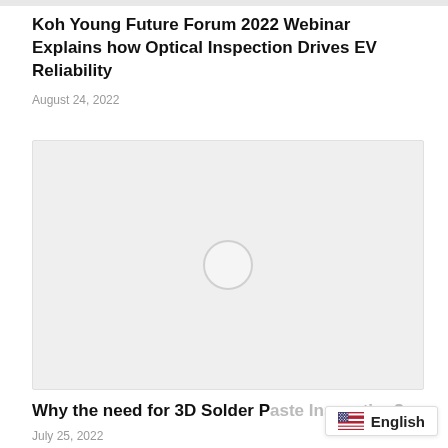Koh Young Future Forum 2022 Webinar Explains how Optical Inspection Drives EV Reliability
August 24, 2022
[Figure (other): Loading/placeholder video embed area with a circular spinner icon on a light grey background]
Why the need for 3D Solder Paste Inspection?
July 25, 2022